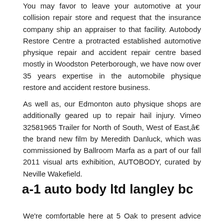You may favor to leave your automotive at your collision repair store and request that the insurance company ship an appraiser to that facility. Autobody Restore Centre a protracted established automotive physique repair and accident repair centre based mostly in Woodston Peterborough, we have now over 35 years expertise in the automobile physique restore and accident restore business.
As well as, our Edmonton auto physique shops are additionally geared up to repair hail injury. Vimeo 32581965 Trailer for North of South, West of East,â€ the brand new film by Meredith Danluck, which was commissioned by Ballroom Marfa as a part of our fall 2011 visual arts exhibition, AUTOBODY, curated by Neville Wakefield.
a-1 auto body ltd langley bc
We're comfortable here at 5 Oak to present advice with repairs